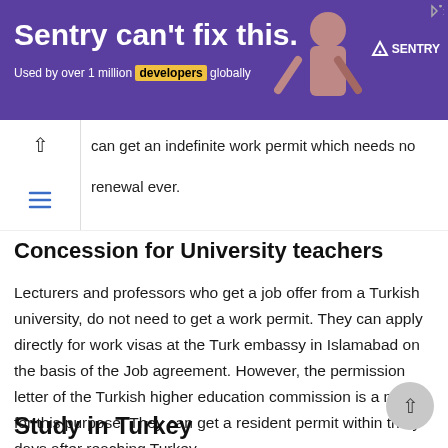[Figure (screenshot): Sentry advertisement banner with purple background. Text reads: 'Sentry can't fix this. Used by over 1 million developers globally' with Sentry logo on right.]
can get an indefinite work permit which needs no renewal ever.
Concession for University teachers
Lecturers and professors who get a job offer from a Turkish university, do not need to get a work permit. They can apply directly for work visas at the Turk embassy in Islamabad on the basis of the Job agreement. However, the permission letter of the Turkish higher education commission is a must for this purpose. They can get a resident permit within thirty days after reaching Turkey.
Study in Turkey